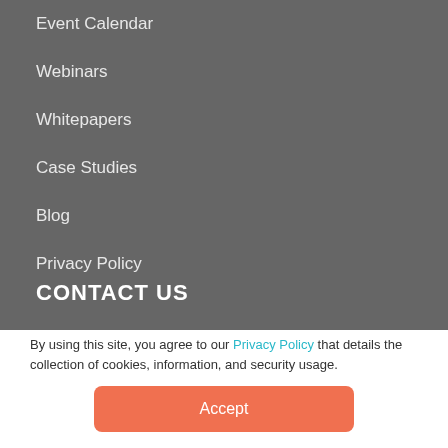Event Calendar
Webinars
Whitepapers
Case Studies
Blog
Privacy Policy
CONTACT US
By using this site, you agree to our Privacy Policy that details the collection of cookies, information, and security usage.
Accept